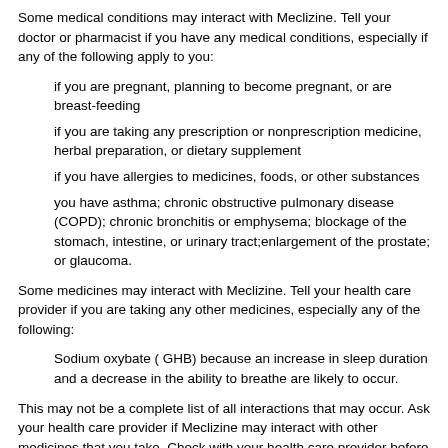Some medical conditions may interact with Meclizine. Tell your doctor or pharmacist if you have any medical conditions, especially if any of the following apply to you:
if you are pregnant, planning to become pregnant, or are breast-feeding
if you are taking any prescription or nonprescription medicine, herbal preparation, or dietary supplement
if you have allergies to medicines, foods, or other substances
you have asthma; chronic obstructive pulmonary disease (COPD); chronic bronchitis or emphysema; blockage of the stomach, intestine, or urinary tract;enlargement of the prostate; or glaucoma.
Some medicines may interact with Meclizine. Tell your health care provider if you are taking any other medicines, especially any of the following:
Sodium oxybate ( GHB) because an increase in sleep duration and a decrease in the ability to breathe are likely to occur.
This may not be a complete list of all interactions that may occur. Ask your health care provider if Meclizine may interact with other medicines that you take. Check with your health care provider before you start, stop, or change the dose of any medicine.
Important safety information:
Meclizine may cause drowsiness or blurred vision. This effect may be worse if you take it with alcohol or certain medicines. Use Meclizine with caution. Do not drive or perform other possible unsafe tasks until you